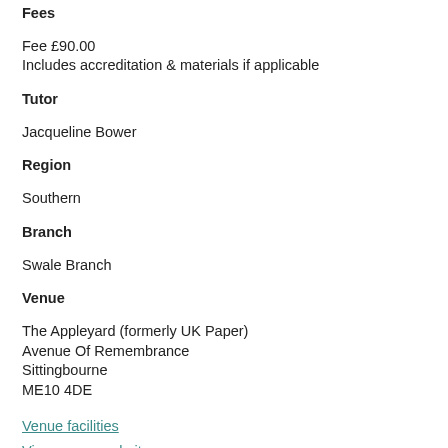Fees
Fee £90.00
Includes accreditation & materials if applicable
Tutor
Jacqueline Bower
Region
Southern
Branch
Swale Branch
Venue
The Appleyard (formerly UK Paper)
Avenue Of Remembrance
Sittingbourne
ME10 4DE
Venue facilities
View venue website
View map